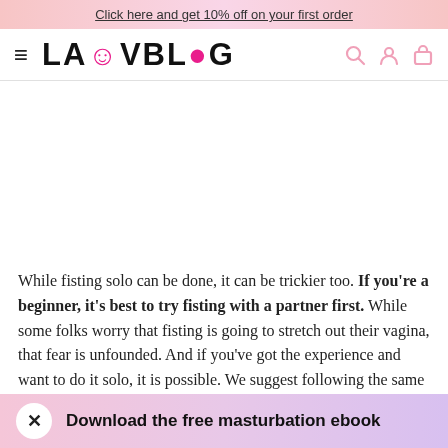Click here and get 10% off on your first order
[Figure (logo): LAUVBLOG logo with hamburger menu icon and nav icons (search, profile, bag)]
[Figure (other): Advertisement/white space area]
While fisting solo can be done, it can be trickier too. If you're a beginner, it's best to try fisting with a partner first. While some folks worry that fisting is going to stretch out their vagina, that fear is unfounded. And if you've got the experience and want to do it solo, it is possible. We suggest following the same steps of taking it slow and being aware. The next five tips are self with
Download the free masturbation ebook